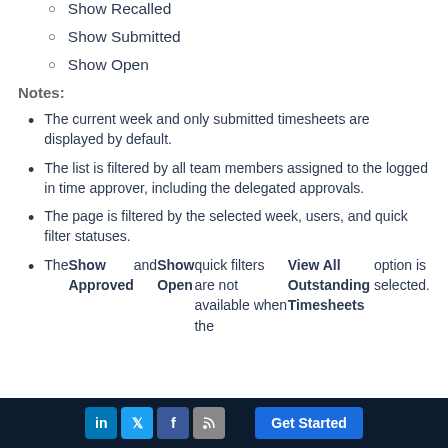Show Recalled
Show Submitted
Show Open
Notes:
The current week and only submitted timesheets are displayed by default.
The list is filtered by all team members assigned to the logged in time approver, including the delegated approvals.
The page is filtered by the selected week, users, and quick filter statuses.
The Show Approved and Show Open quick filters are not available when the View All Outstanding Timesheets option is selected.
LinkedIn Twitter Facebook RSS  Get Started